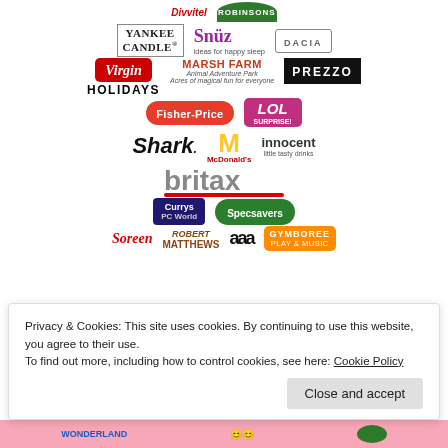[Figure (logo): Grid of brand logos including: Yankee Candle, Snüz, Dacia, Virgin Holidays, Marsh Farm, Prezzo, Fisher-Price, LOL Surprise, Shark, McDonald's, innocent, britax, Currys PC World, Specsavers, Soreen, Matthews, Gymboree Play & Music, and partially visible logos at top and bottom]
Privacy & Cookies: This site uses cookies. By continuing to use this website, you agree to their use.
To find out more, including how to control cookies, see here: Cookie Policy
Close and accept